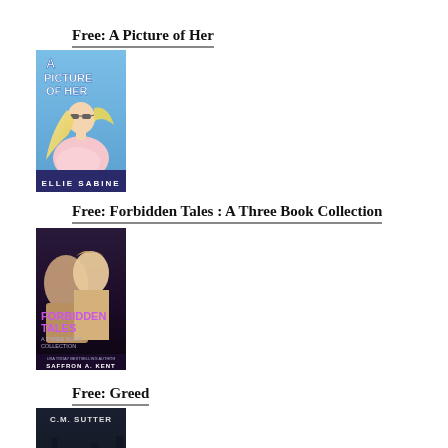Free: A Picture of Her
[Figure (illustration): Book cover for 'A Picture of Her' by Ellie Sabine — blue background, blonde woman with sunglasses]
Free: Forbidden Tales : A Three Book Collection
[Figure (illustration): Book cover for 'Forbidden Tales: A Three Book Collection' by Saffron A. Kent — romantic couple embrace, purple/dark tones]
Free: Greed
[Figure (illustration): Book cover for 'Greed' by C.M. Sutter — dark moody thriller cover]